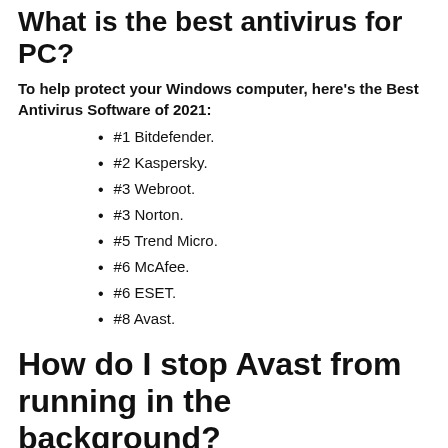What is the best antivirus for PC?
To help protect your Windows computer, here's the Best Antivirus Software of 2021:
#1 Bitdefender.
#2 Kaspersky.
#3 Webroot.
#3 Norton.
#5 Trend Micro.
#6 McAfee.
#6 ESET.
#8 Avast.
How do I stop Avast from running in the background?
How to Stop Avast from Running in the Background?
Open the Avast User interface.